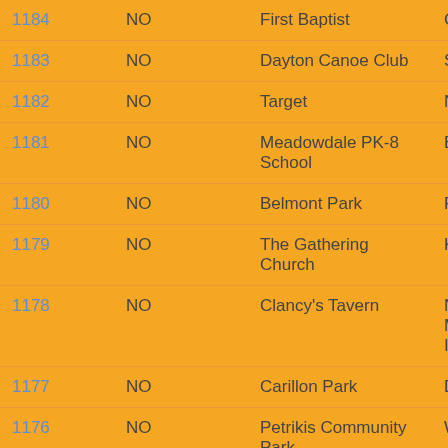| ID | Status | Name | Extra |
| --- | --- | --- | --- |
| 1184 | NO | First Baptist | Crow |
| 1183 | NO | Dayton Canoe Club | Sprin |
| 1182 | NO | Target | New |
| 1181 | NO | Meadowdale PK-8 School | Earth |
| 1180 | NO | Belmont Park | Pink |
| 1179 | NO | The Gathering Church | Kilted |
| 1178 | NO | Clancy's Tavern | New Histo Music Instru |
| 1177 | NO | Carillon Park | DH3 |
| 1176 | NO | Petrikis Community Park | Worn |
| 1175 | NO | Flanagan's | Wear Gree |